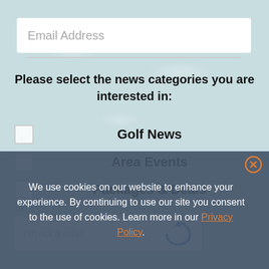Email Address
Please select the news categories you are interested in:
Golf News
Area Events
Packages & Deals
I'm not a robot
We use cookies on our website to enhance your experience. By continuing to use our site you consent to the use of cookies. Learn more in our Privacy Policy.